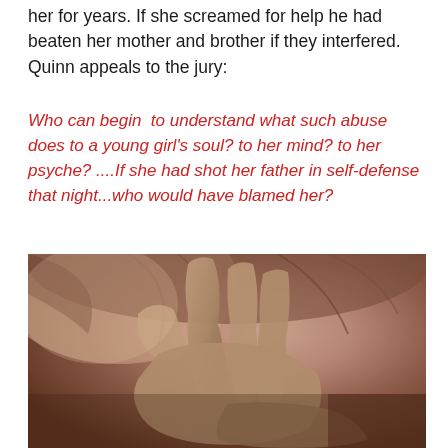her for years. If she screamed for help he had beaten her mother and brother if they interfered.  Quinn appeals to the jury:
Who can begin  to understand what such abuse does to a young girl's soul? to her mind? to her psyche? ....If she had shot her father in self-defense that night...who would have blamed her?
[Figure (photo): A sepia-toned photograph of a person with hands covering their face and head, suggesting distress or grief. The image shows a close-up of hands pressed against the head with hair visible.]